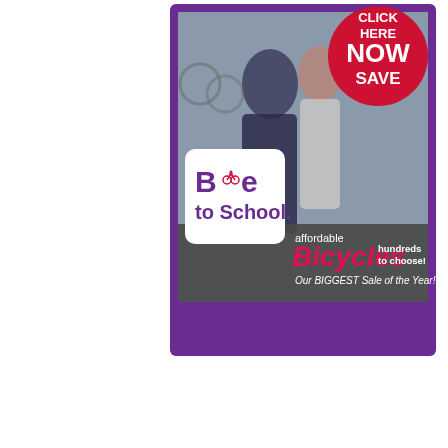[Figure (illustration): Bike to School advertisement banner with purple border. Shows two people (students) with bicycles in background. Contains a red circle badge with 'CLICK HERE NOW SAVE' text. Left side has 'Bike to School.' logo in purple with a bicycle icon replacing the 'i'. Right side has text 'affordable Bicycles hundreds to choose! Our BIGGEST Sale of the Year!' in red and white on a dark grey background.]